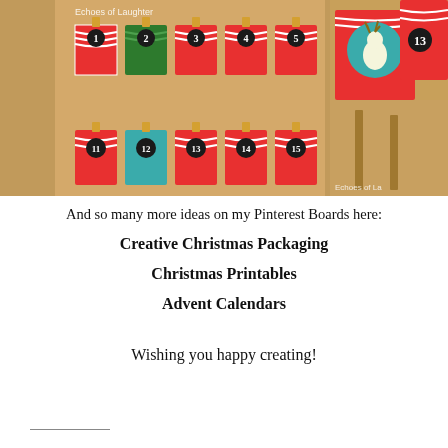[Figure (photo): Two photos of a DIY advent calendar with red and white chevron numbered pouches clipped to a wooden rack. Watermark says 'Echoes of Laughter'.]
And so many more ideas on my Pinterest Boards here:
Creative Christmas Packaging
Christmas Printables
Advent Calendars
Wishing you happy creating!